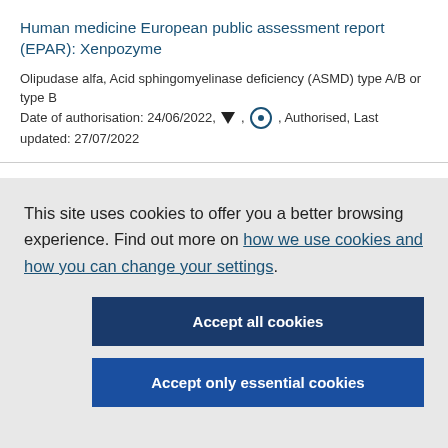Human medicine European public assessment report (EPAR): Xenpozyme
Olipudase alfa, Acid sphingomyelinase deficiency (ASMD) type A/B or type B
Date of authorisation: 24/06/2022, ▼, ○, Authorised, Last updated: 27/07/2022
This site uses cookies to offer you a better browsing experience. Find out more on how we use cookies and how you can change your settings.
Accept all cookies
Accept only essential cookies